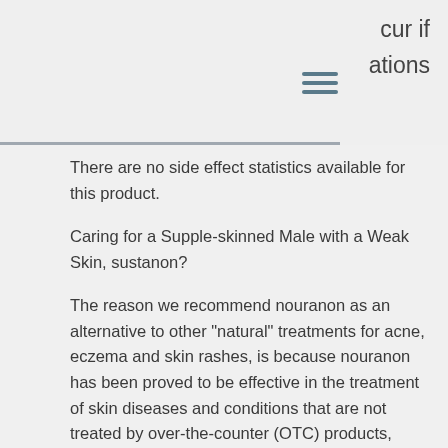cur if ations
There are no side effect statistics available for this product.
Caring for a Supple-skinned Male with a Weak Skin, sustanon?
The reason we recommend nouranon as an alternative to other "natural" treatments for acne, eczema and skin rashes, is because nouranon has been proved to be effective in the treatment of skin diseases and conditions that are not treated by over-the-counter (OTC) products, ligandrol italia.
Pro bodybuilder off season cycle
Most of the times, a pro bodybuilder might